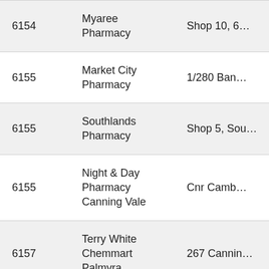| Postcode | Name | Address |
| --- | --- | --- |
| 6154 | Myaree Pharmacy | Shop 10, 6… |
| 6155 | Market City Pharmacy | 1/280 Ban… |
| 6155 | Southlands Pharmacy | Shop 5, Sou… |
| 6155 | Night & Day Pharmacy Canning Vale | Cnr Camb… |
| 6157 | Terry White Chemmart Palmyra | 267 Cannin… |
| 6158 | Caring Pharmacy East Fremantle | 8 Silas St |
| 6160 | Fremantle Central Pharmacy | 1 Queen St… |